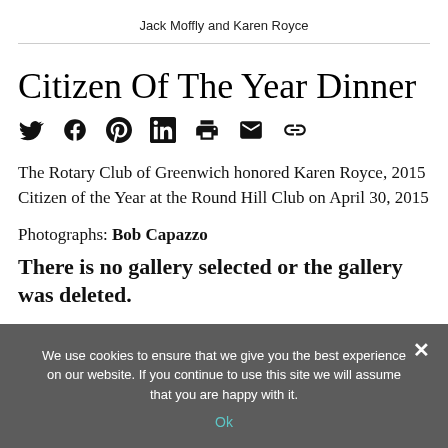Jack Moffly and Karen Royce
Citizen Of The Year Dinner
The Rotary Club of Greenwich honored Karen Royce, 2015 Citizen of the Year at the Round Hill Club on April 30, 2015
Photographs: Bob Capazzo
There is no gallery selected or the gallery was deleted.
We use cookies to ensure that we give you the best experience on our website. If you continue to use this site we will assume that you are happy with it.